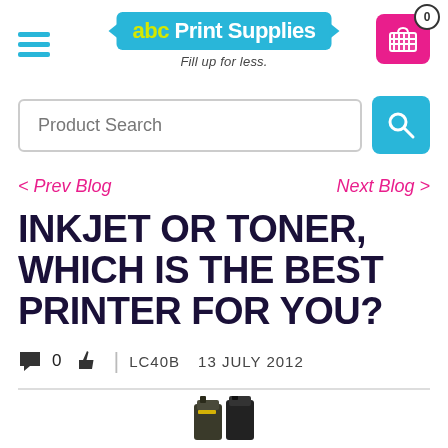[Figure (logo): abc Print Supplies logo with tagline 'Fill up for less.' and shopping cart with badge 0]
[Figure (screenshot): Product Search input field with blue search button]
< Prev Blog    Next Blog >
INKJET OR TONER, WHICH IS THE BEST PRINTER FOR YOU?
0  |  LC40B  13 JULY 2012
[Figure (photo): Partial image of ink/toner cartridges at bottom of page]